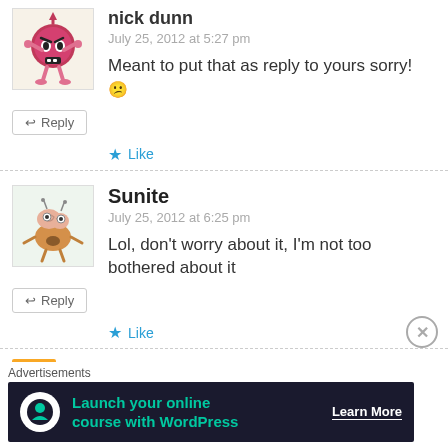[Figure (illustration): Avatar of nick dunn - cartoon angry pink organ character with arms and legs]
nick dunn
July 25, 2012 at 5:27 pm
Meant to put that as reply to yours sorry! 😕
↩ Reply
★ Like
[Figure (illustration): Avatar of Sunite - cartoon brain/cookie character with legs]
Sunite
July 25, 2012 at 6:25 pm
Lol, don't worry about it, I'm not too bothered about it
↩ Reply
★ Like
[Figure (illustration): Partial avatar of nick dunn at bottom, orange background with small icon]
nick dunn
Advertisements
Launch your online course with WordPress  Learn More